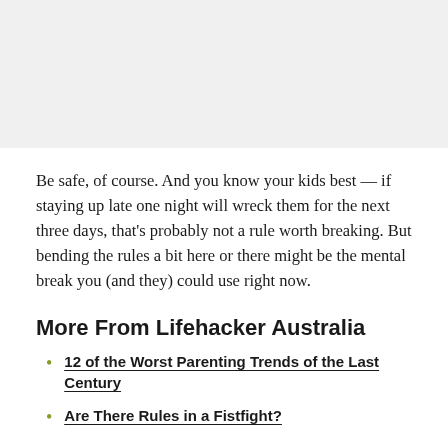[Figure (photo): Image placeholder area at the top of the page, light grey background]
Be safe, of course. And you know your kids best — if staying up late one night will wreck them for the next three days, that's probably not a rule worth breaking. But bending the rules a bit here or there might be the mental break you (and they) could use right now.
More From Lifehacker Australia
12 of the Worst Parenting Trends of the Last Century
Are There Rules in a Fistfight?
How to Date Someone With Kids